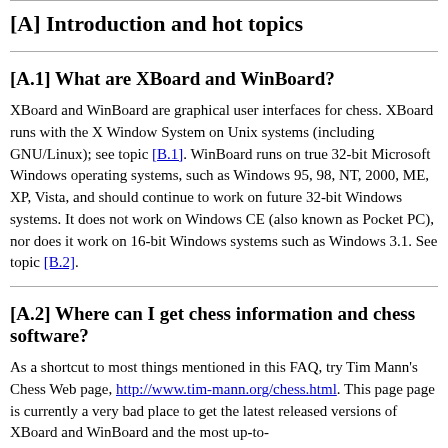[A] Introduction and hot topics
[A.1] What are XBoard and WinBoard?
XBoard and WinBoard are graphical user interfaces for chess. XBoard runs with the X Window System on Unix systems (including GNU/Linux); see topic [B.1]. WinBoard runs on true 32-bit Microsoft Windows operating systems, such as Windows 95, 98, NT, 2000, ME, XP, Vista, and should continue to work on future 32-bit Windows systems. It does not work on Windows CE (also known as Pocket PC), nor does it work on 16-bit Windows systems such as Windows 3.1. See topic [B.2].
[A.2] Where can I get chess information and chess software?
As a shortcut to most things mentioned in this FAQ, try Tim Mann's Chess Web page, http://www.tim-mann.org/chess.html. This page page is currently a very bad place to get the latest released versions of XBoard and WinBoard and the most up-to-